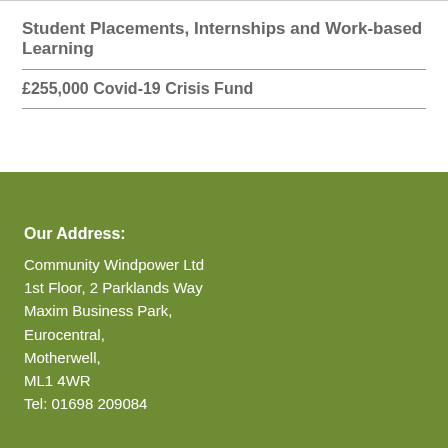Student Placements, Internships and Work-based Learning
£255,000 Covid-19 Crisis Fund
Our Address:
Community Windpower Ltd
1st Floor, 2 Parklands Way
Maxim Business Park,
Eurocentral,
Motherwell,
ML1 4WR
Tel: 01698 209084